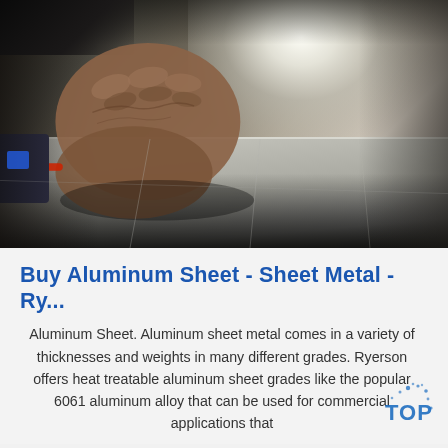[Figure (photo): A person's hand pressing down on a polished aluminum sheet metal surface. The background shows a bright glare/reflection from overhead lighting. Dark workshop environment surrounds the sheet. A blue tool is partially visible on the left side.]
Buy Aluminum Sheet - Sheet Metal - Ry...
Aluminum Sheet. Aluminum sheet metal comes in a variety of thicknesses and weights in many different grades. Ryerson offers heat treatable aluminum sheet grades like the popular 6061 aluminum alloy that can be used for commercial applications that